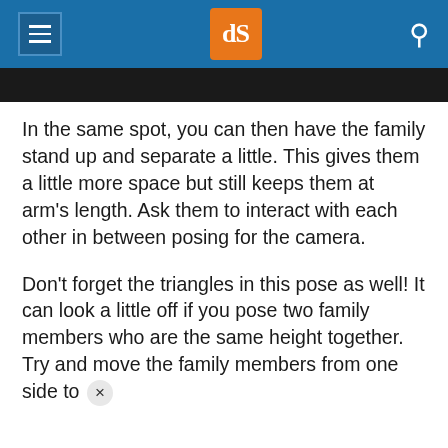dPS
[Figure (screenshot): Dark bar partially visible at top of content area]
In the same spot, you can then have the family stand up and separate a little. This gives them a little more space but still keeps them at arm’s length. Ask them to interact with each other in between posing for the camera.
Don’t forget the triangles in this pose as well! It can look a little off if you pose two family members who are the same height together. Try and move the family members from one side to